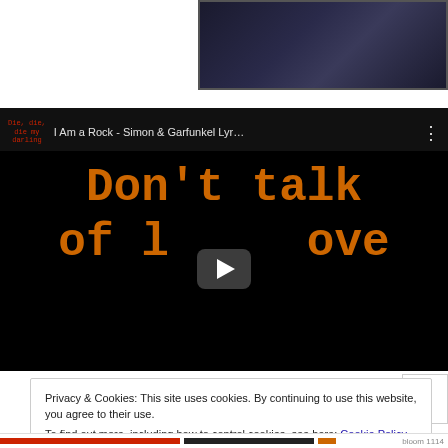[Figure (screenshot): Top portion showing a dark car/automotive scene screenshot]
[Figure (screenshot): YouTube video thumbnail showing 'I Am a Rock - Simon & Garfunkel Lyr...' with text 'Don't talk of love' in orange typewriter font on black background with play button overlay. Channel label reads 'Die, die, die my darling' in red.]
Privacy & Cookies: This site uses cookies. By continuing to use this website, you agree to their use.
To find out more, including how to control cookies, see here: Cookie Policy
Close and accept